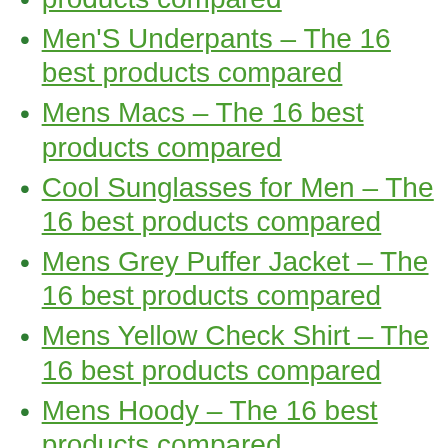products compared (partial, clipped at top)
Men'S Underpants – The 16 best products compared
Mens Macs – The 16 best products compared
Cool Sunglasses for Men – The 16 best products compared
Mens Grey Puffer Jacket – The 16 best products compared
Mens Yellow Check Shirt – The 16 best products compared
Mens Hoody – The 16 best products compared
Bench Coat Mens – The 16 best products compared
Cargo Shorts for Men – The 16 best products compared (partial, clipped at bottom)